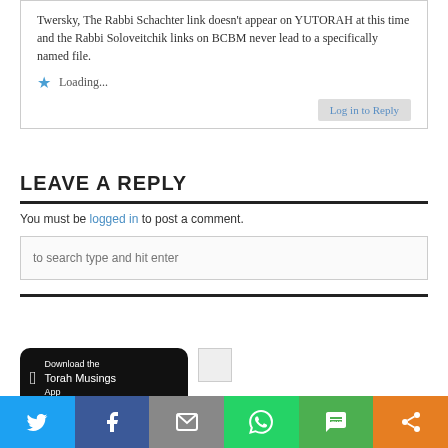Twersky, The Rabbi Schachter link doesn't appear on YUTORAH at this time and the Rabbi Soloveitchik links on BCBM never lead to a specifically named file.
Loading...
Log in to Reply
LEAVE A REPLY
You must be logged in to post a comment.
to search type and hit enter
[Figure (screenshot): Download the Torah Musings App button (black, Apple style)]
[Figure (photo): Small broken image thumbnail]
[Figure (infographic): Support Buy Gil a cup of coffee button (blue)]
[Figure (infographic): Purchase Announcement button (yellow/gold)]
[Figure (infographic): Social sharing bar: Twitter, Facebook, Email, WhatsApp, SMS, Share]